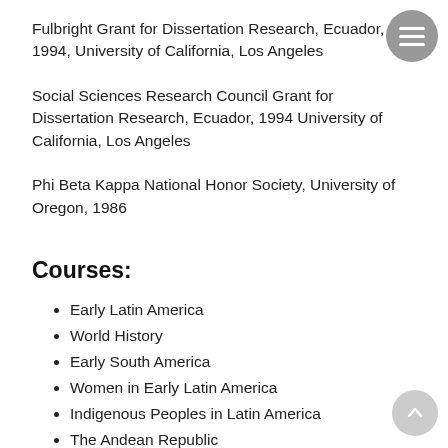Fulbright Grant for Dissertation Research, Ecuador, 1994, University of California, Los Angeles
Social Sciences Research Council Grant for Dissertation Research, Ecuador, 1994 University of California, Los Angeles
Phi Beta Kappa National Honor Society, University of Oregon, 1986
Courses:
Early Latin America
World History
Early South America
Women in Early Latin America
Indigenous Peoples in Latin America
The Andean Republic
History of Women
Human Rights in Latin America